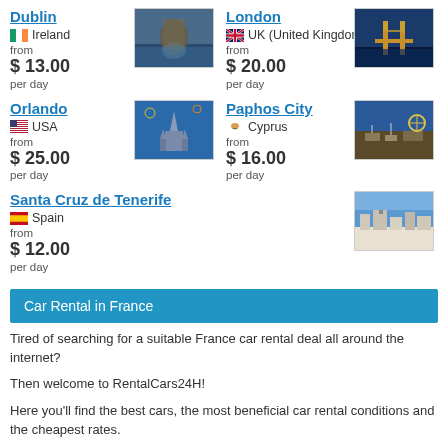Dublin — Ireland — from $ 13.00 per day
London — UK (United Kingdom) — from $ 20.00 per day
Orlando — USA — from $ 25.00 per day
Paphos City — Cyprus — from $ 16.00 per day
Santa Cruz de Tenerife — Spain — from $ 12.00 per day
Car Rental in France
Tired of searching for a suitable France car rental deal all around the internet?
Then welcome to RentalCars24H!
Here you'll find the best cars, the most beneficial car rental conditions and the cheapest rates.